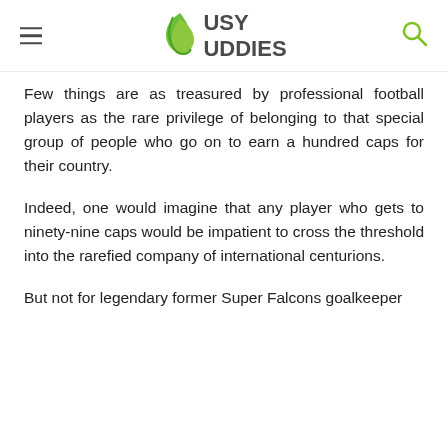BUSY BUDDIES
Few things are as treasured by professional football players as the rare privilege of belonging to that special group of people who go on to earn a hundred caps for their country.
Indeed, one would imagine that any player who gets to ninety-nine caps would be impatient to cross the threshold into the rarefied company of international centurions.
But not for legendary former Super Falcons goalkeeper